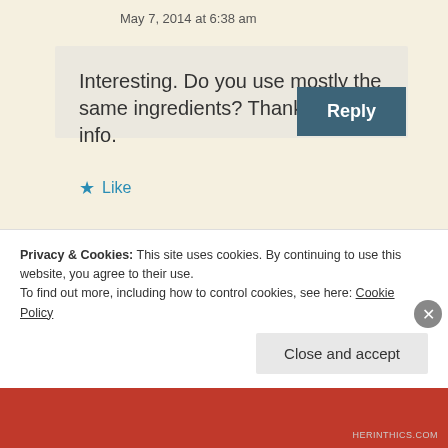May 7, 2014 at 6:38 am
Interesting. Do you use mostly the same ingredients? Thanks for the info.
★ Like
Reply
Privacy & Cookies: This site uses cookies. By continuing to use this website, you agree to their use.
To find out more, including how to control cookies, see here: Cookie Policy
Close and accept